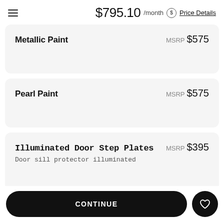$795.10 /month Price Details
Metallic Paint MSRP $575
Pearl Paint MSRP $575
Illuminated Door Step Plates MSRP $395
Door sill protector illuminated
Winter Weather Package MSRP $335
CONTINUE